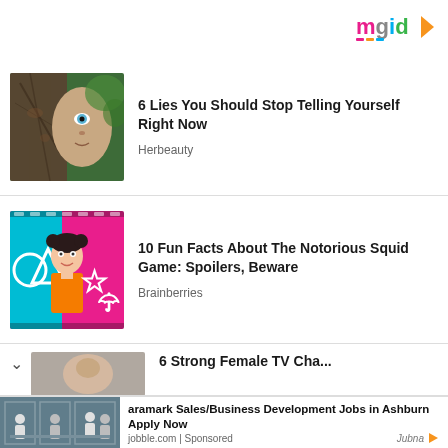[Figure (logo): mgid logo with colorful letters and play button icon]
[Figure (photo): Half human face half tree bark face with blue eye]
6 Lies You Should Stop Telling Yourself Right Now
Herbeauty
[Figure (photo): Squid Game doll figurine on pink background with symbols]
10 Fun Facts About The Notorious Squid Game: Spoilers, Beware
Brainberries
[Figure (photo): Partial view of woman face]
6 Strong Female TV Cha...
[Figure (photo): People in office meeting room behind glass]
aramark Sales/Business Development Jobs in Ashburn Apply Now
jobble.com | Sponsored
[Figure (logo): Jubna logo]